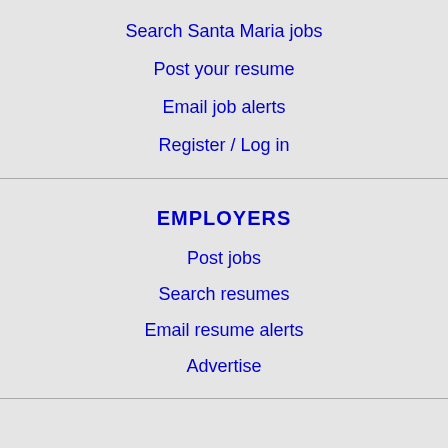Search Santa Maria jobs
Post your resume
Email job alerts
Register / Log in
EMPLOYERS
Post jobs
Search resumes
Email resume alerts
Advertise